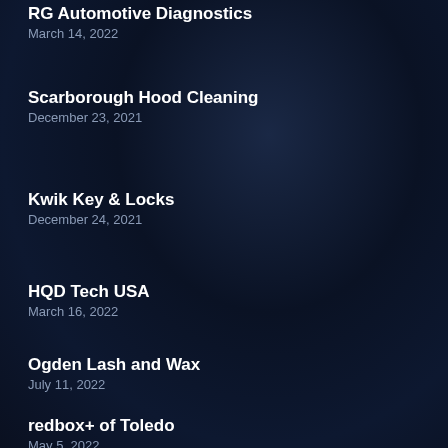RG Automotive Diagnostics
March 14, 2022
Scarborough Hood Cleaning
December 23, 2021
Kwik Key & Locks
December 24, 2021
HQD Tech USA
March 16, 2022
Ogden Lash and Wax
July 11, 2022
redbox+ of Toledo
May 5, 2022